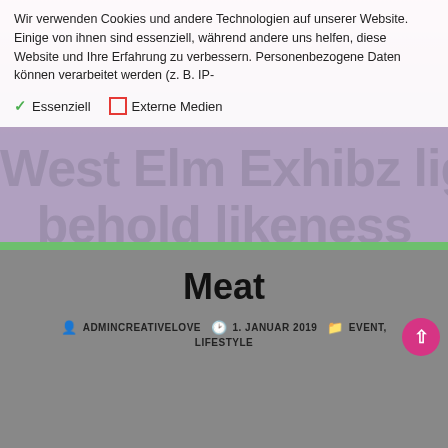Wir verwenden Cookies und andere Technologien auf unserer Website. Einige von ihnen sind essenziell, während andere uns helfen, diese Website und Ihre Erfahrung zu verbessern. Personenbezogene Daten können verarbeitet werden (z. B. IP-
✓ Essenziell   □ Externe Medien
West Elm Exhibz light behold likeness midst
Meat
ADMINCREATIVELOVE   1. JANUAR 2019   EVENT, LIFESTYLE
[Figure (photo): Photo of a concert hall or theater audience, silhouettes of people in dark auditorium with warm golden ceiling lights and blue stage lighting]